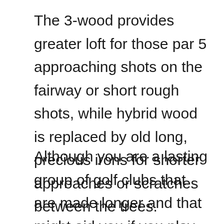The 3-wood provides greater loft for those par 5 approaching shots on the fairway or short rough shots, while hybrid wood is replaced by old long, precious irons for shorter approaches or scratches between the trees.
Although you are a lasting group of golf clubs that are made longer and that might aid you if you play regularly and intend on cutting back your golf disability you may prefer to take on a set such as the Callaway Edge Golf Clubs that are built